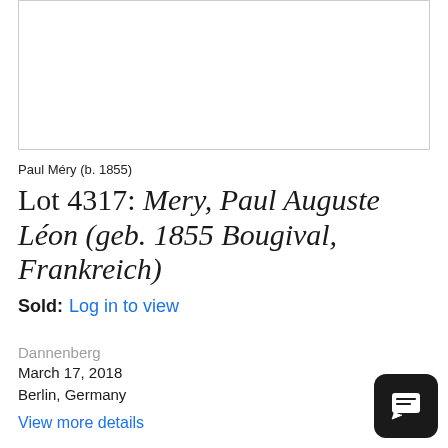[Figure (photo): Blank white image placeholder with light border, likely where artwork image would appear]
Paul Méry (b. 1855)
Lot 4317: Mery, Paul Auguste Léon (geb. 1855 Bougival, Frankreich)
Sold:  Log in to view
Dannenberg
March 17, 2018
Berlin, Germany
View more details